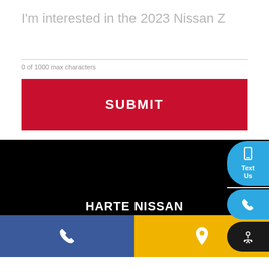I'm interested in the 2023 Nissan Z
0 of 1000 max characters
SUBMIT
HARTE NISSAN
Text Us